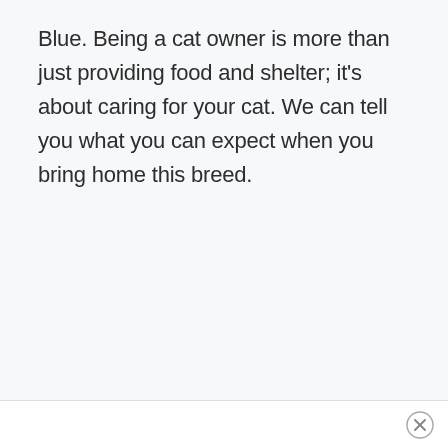Blue. Being a cat owner is more than just providing food and shelter; it's about caring for your cat. We can tell you what you can expect when you bring home this breed.
[Figure (other): Close button (X icon) in the bottom-right corner footer area]